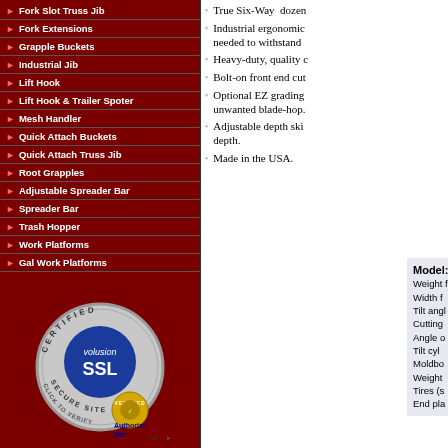Fork Slot Truss Jib
Fork Extensions
Grapple Buckets
Industrial Jib
Lift Hook
Lift Hook & Trailer Spoter
Mesh Handler
Quick Attach Buckets
Quick Attach Truss Jib
Root Grapples
Adjustable Spreader Bar
Spreader Bar
Trash Hopper
Work Platforms
Gal Work Platforms
[Figure (logo): Volusion SSL Certified Secure Site badge - circular silver badge with blue inner circle showing 'volusion SSL' text]
[Figure (logo): Authorize.Net Verified Click badge]
True Six-Way dozer
Industrial ergonomic needed to withstand
Heavy-duty, quality c
Bolt-on front end cut
Optional EZ grading unwanted blade-hop.
Adjustable depth ski depth.
Made in the USA.
Model: Weight f Width f Tilt angl Cutting Angle o Tilt cyl Moldbo Weight Tires (s End pla